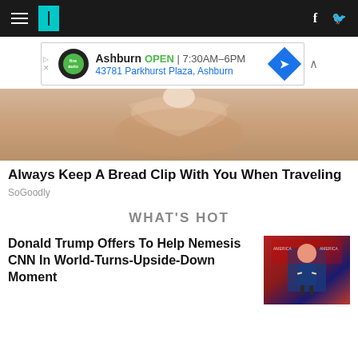HuffPost navigation bar
[Figure (screenshot): Advertisement banner: Ashburn OPEN 7:30AM-6PM, 43781 Parkhurst Plaza, Ashburn]
[Figure (photo): Close-up photo of a hand holding a bread clip]
Always Keep A Bread Clip With You When Traveling
SoGoodly
WHAT'S HOT
Donald Trump Offers To Help Nemesis CNN In World-Turns-Upside-Down Moment
[Figure (photo): Photo of Donald Trump at a rally, wearing a blue suit and red tie, crowd behind him]